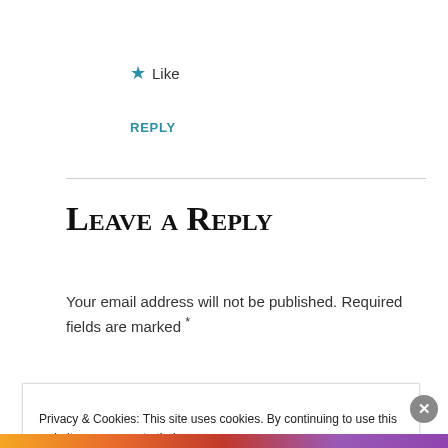★ Like
REPLY
Leave a Reply
Your email address will not be published. Required fields are marked *
Privacy & Cookies: This site uses cookies. By continuing to use this website, you agree to their use. To find out more, including how to control cookies, see here: Cookie Policy